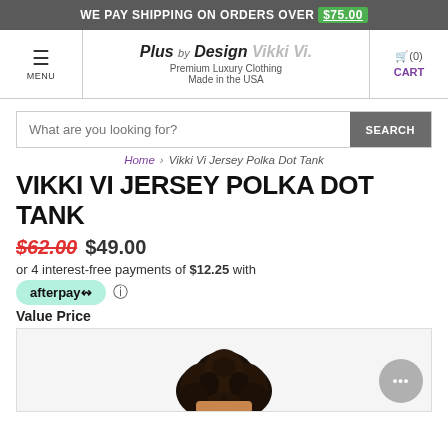WE PAY SHIPPING ON ORDERS OVER $75.00
[Figure (screenshot): Navigation bar with menu hamburger icon, Plus by Design Vikki Vi logo (Premium Luxury Clothing, Made in the USA), and cart icon with (0) count]
[Figure (screenshot): Search bar with placeholder 'What are you looking for?' and SEARCH button]
Home > Vikki Vi Jersey Polka Dot Tank
VIKKI VI JERSEY POLKA DOT TANK
$62.00  $49.00
or 4 interest-free payments of $12.25 with afterpay
Value Price
[Figure (photo): Partial product photo showing top of model's head with curly dark hair]